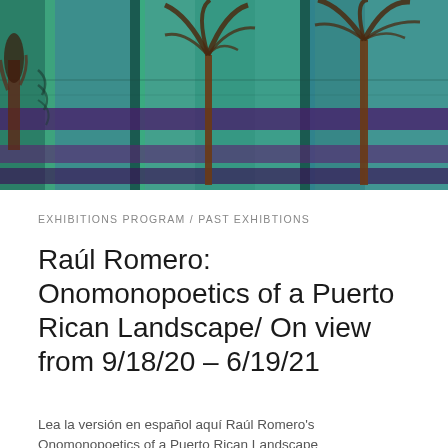[Figure (illustration): Abstract painting with tropical palm trees silhouetted against a teal, green, and blue plaid/grid background with horizontal purple/dark bands running across the middle and bottom. Three palm trees are visible, with abstract textural markings throughout the composition.]
EXHIBITIONS PROGRAM / PAST EXHIBTIONS
Raúl Romero: Onomonopoetics of a Puerto Rican Landscape/ On view from 9/18/20 – 6/19/21
Lea la versión en español aquí Raúl Romero's Onomonopoetics of a Puerto Rican Landscape